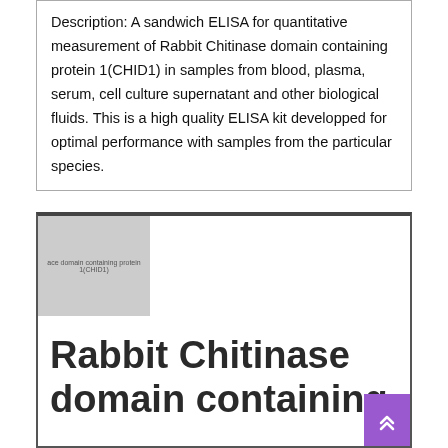Description: A sandwich ELISA for quantitative measurement of Rabbit Chitinase domain containing protein 1(CHID1) in samples from blood, plasma, serum, cell culture supernatant and other biological fluids. This is a high quality ELISA kit developped for optimal performance with samples from the particular species.
[Figure (photo): Product image placeholder showing Rabbit Chitinase domain containing protein 1(CHID1) kit, gray rectangle with small text label]
Rabbit Chitinase domain containing